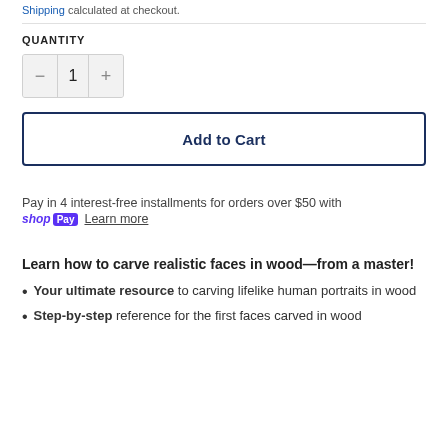Shipping calculated at checkout.
QUANTITY
1
Add to Cart
Pay in 4 interest-free installments for orders over $50 with shop Pay Learn more
Learn how to carve realistic faces in wood—from a master!
Your ultimate resource to carving lifelike human portraits in wood
Step-by-step reference for the first faces carved in wood